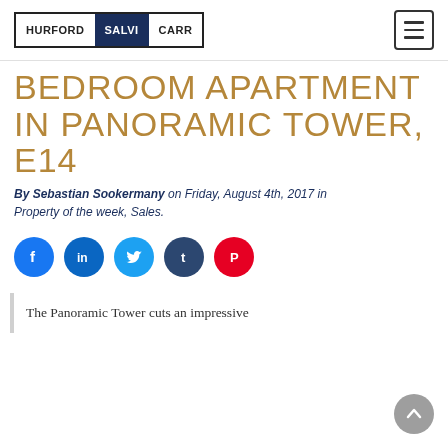HURFORD SALVI CARR
BEDROOM APARTMENT IN PANORAMIC TOWER, E14
By Sebastian Sookermany on Friday, August 4th, 2017 in Property of the week, Sales.
[Figure (infographic): Social sharing icons: Facebook, LinkedIn, Twitter, Tumblr, Pinterest]
The Panoramic Tower cuts an impressive